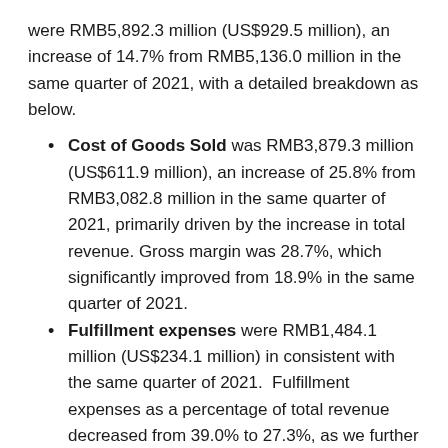were RMB5,892.3 million (US$929.5 million), an increase of 14.7% from RMB5,136.0 million in the same quarter of 2021, with a detailed breakdown as below.
Cost of Goods Sold was RMB3,879.3 million (US$611.9 million), an increase of 25.8% from RMB3,082.8 million in the same quarter of 2021, primarily driven by the increase in total revenue. Gross margin was 28.7%, which significantly improved from 18.9% in the same quarter of 2021.
Fulfillment expenses were RMB1,484.1 million (US$234.1 million) in consistent with the same quarter of 2021. Fulfillment expenses as a percentage of total revenue decreased from 39.0% to 27.3%, as we further improved our supply chain efficiency.
Sales and marketing expenses were RMB176.1 million (US$27.8 million), a decrease of 44.7%